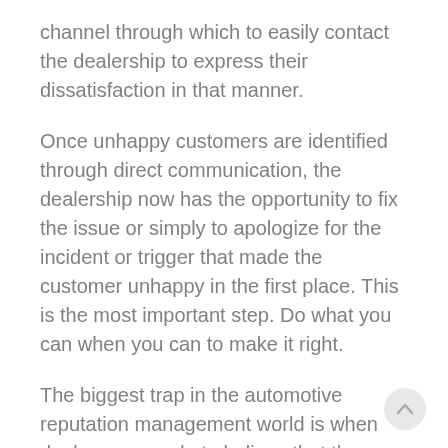channel through which to easily contact the dealership to express their dissatisfaction in that manner.
Once unhappy customers are identified through direct communication, the dealership now has the opportunity to fix the issue or simply to apologize for the incident or trigger that made the customer unhappy in the first place. This is the most important step. Do what you can when you can to make it right.
The biggest trap in the automotive reputation management world is when dealers are made to believe that the dangerous two-step filtering process is the right way to go. It isn't. It's dangerous. More importantly, it betrays the opportunity to make things right. Some people...